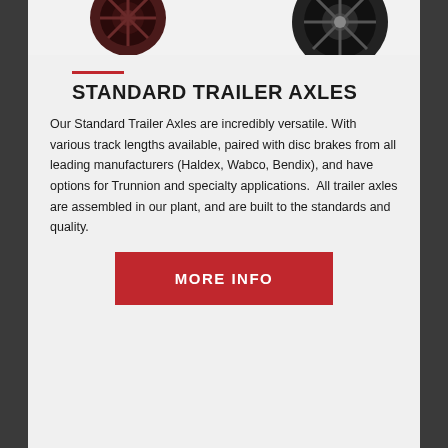[Figure (photo): Partial view of two trailer axle/wheel assemblies at top of page, dark colored mechanical components on light gray background]
STANDARD TRAILER AXLES
Our Standard Trailer Axles are incredibly versatile. With various track lengths available, paired with disc brakes from all leading manufacturers (Haldex, Wabco, Bendix), and have options for Trunnion and specialty applications.  All trailer axles are assembled in our plant, and are built to the standards and quality.
[Figure (other): Red 'MORE INFO' button]